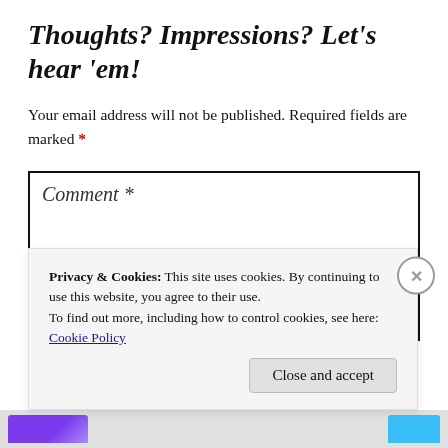Thoughts? Impressions? Let's hear 'em!
Your email address will not be published. Required fields are marked *
Comment *
Privacy & Cookies: This site uses cookies. By continuing to use this website, you agree to their use. To find out more, including how to control cookies, see here: Cookie Policy
Close and accept